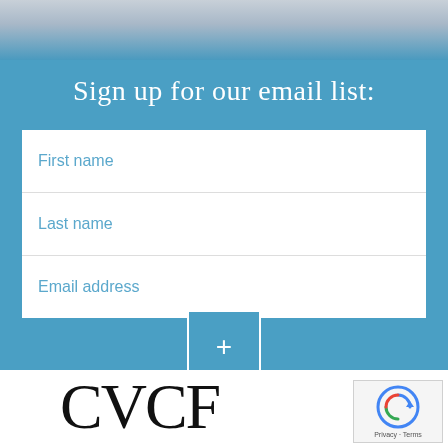[Figure (photo): Top banner with blurred outdoor/sky image in blue-grey tones]
Sign up for our email list:
First name
Last name
Email address
[Figure (logo): CVCF logo in large serif black letters]
[Figure (other): Google reCAPTCHA widget with Privacy and Terms text]